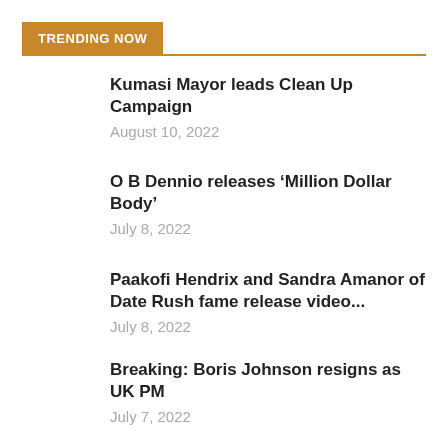TRENDING NOW
Kumasi Mayor leads Clean Up Campaign
August 10, 2022
O B Dennio releases ‘Million Dollar Body’
July 8, 2022
Paakofi Hendrix and Sandra Amanor of Date Rush fame release video...
July 8, 2022
Breaking: Boris Johnson resigns as UK PM
July 7, 2022